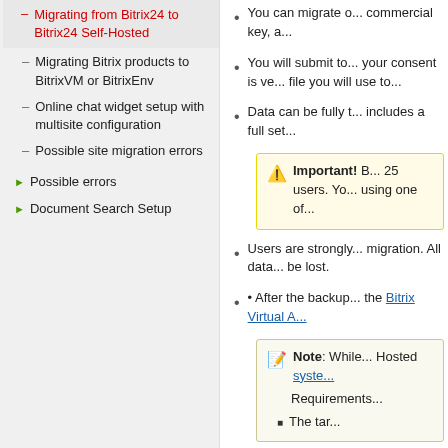Migrating from Bitrix24 to Bitrix24 Self-Hosted (highlighted/active)
Migrating Bitrix products to BitrixVM or BitrixEnv
Online chat widget setup with multisite configuration
Possible site migration errors
Possible errors
Document Search Setup
You can migrate o... commercial key, a...
You will submit to... your consent is ve... file you will use to...
Data can be fully t... includes a full set...
Important! B... 25 users. Yo... using one of...
Users are strongly... migration. All data... be lost.
• After the backup... the Bitrix Virtual A...
Note: While... Hosted syste... Requirements... The tar...